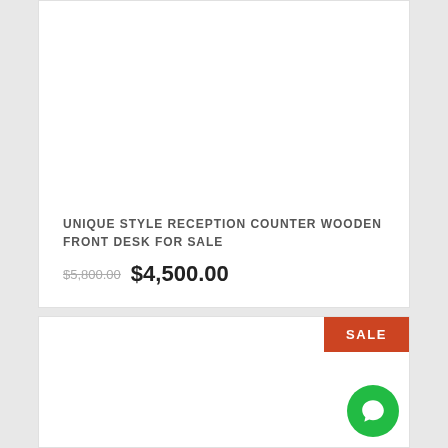UNIQUE STYLE RECEPTION COUNTER WOODEN FRONT DESK FOR SALE
$5,800.00 $4,500.00
SALE